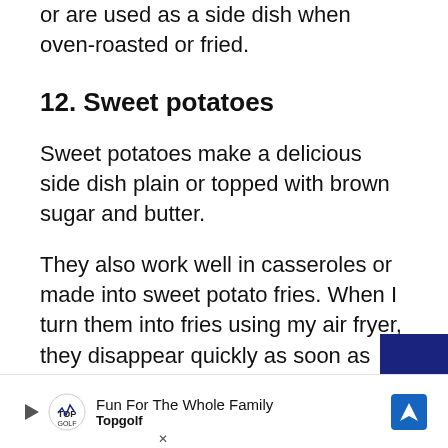or are used as a side dish when oven-roasted or fried.
12. Sweet potatoes
Sweet potatoes make a delicious side dish plain or topped with brown sugar and butter.
They also work well in casseroles or made into sweet potato fries. When I turn them into fries using my air fryer, they disappear quickly as soon as
[Figure (other): Advertisement banner for Topgolf: 'Fun For The Whole Family' with Topgolf logo and navigation arrow icon]
[Figure (other): Dark blue rectangular block partially covering the last line of text at bottom right]